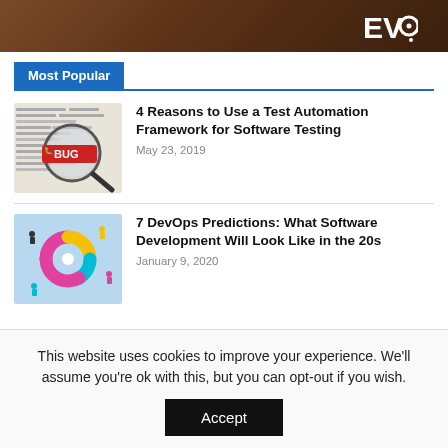[Figure (photo): Dark brown background banner image with 'EVO' logo text in white on the right side]
Most Popular
[Figure (photo): Thumbnail image showing a magnifying glass over code/text with a red BUG label]
4 Reasons to Use a Test Automation Framework for Software Testing
May 23, 2019
[Figure (photo): Thumbnail image showing colorful circular DevOps cycle diagram with small cartoon people figures]
7 DevOps Predictions: What Software Development Will Look Like in the 20s
January 9, 2020
This website uses cookies to improve your experience. We'll assume you're ok with this, but you can opt-out if you wish.
Accept